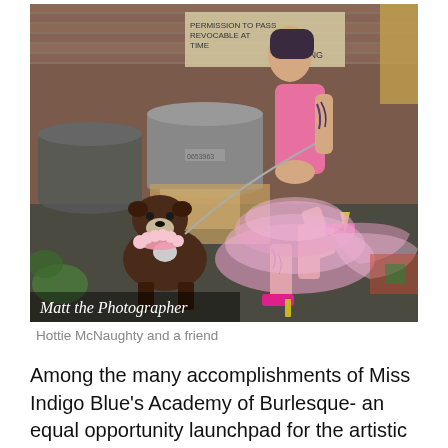[Figure (photo): A tattooed woman in a pink tutu dress and bright pink high heels walks a brown Staffordshire Bull Terrier wearing a pink flower collar, in an alley with trash cans and a brick wall. Text 'Matt the Photographer' appears in the lower left of the image.]
Hottie McNaughty and a friend
Among the many accomplishments of Miss Indigo Blue's Academy of Burlesque- an equal opportunity launchpad for the artistic expression in entertainment, the art of...